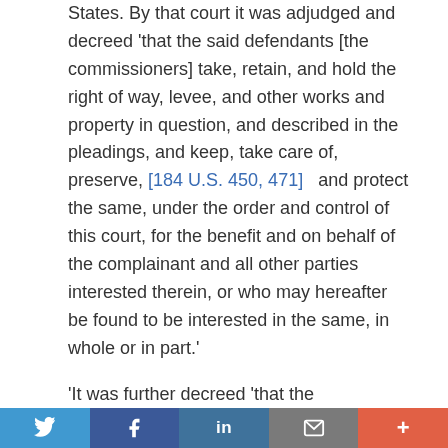States. By that court it was adjudged and decreed 'that the said defendants [the commissioners] take, retain, and hold the right of way, levee, and other works and property in question, and described in the pleadings, and keep, take care of, preserve, [184 U.S. 450, 471]  and protect the same, under the order and control of this court, for the benefit and on behalf of the complainant and all other parties interested therein, or who may hereafter be found to be interested in the same, in whole or in part.'
'It was further decreed 'that the complainants and all other persons who may have loaned or advanced money to the defendants for the acquisition by those of the said right of way, or for the construction of the said levee and other works and property connected therewith, or who may be the holder of any of the bonds issued by said defendants to raise money for the purposes aforesaid, or
Twitter | Facebook | LinkedIn | Email | More